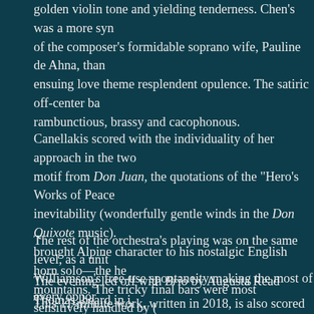golden violin tone and yielding tenderness. Chen's was a more sym of the composer's formidable soprano wife, Pauline de Ahna, than ensuing love theme resplendent opulence. The satiric off-center ba rambunctious, brassy and cacophonous.
Canellakis scored with the individuality of her approach in the two motif from Don Juan, the quotations of the "Hero's Works of Peace inevitability (wonderfully gentle winds in the Don Quixote music). brought Alpine character to his nostalgic English horn solo—the he mountains. The tricky final bars were most sensitively handled by ( between solo horn and violin beautifully played by David Cooper a glowing coda.
The rest of the orchestra's playing was on the same level, as a unit Williamson's free-use spontaneity making the most of every oppor
The evening led off with Brio by Augusta Read Thomas, heard in i
This 11-minute work, written in 2018, is also scored for large force